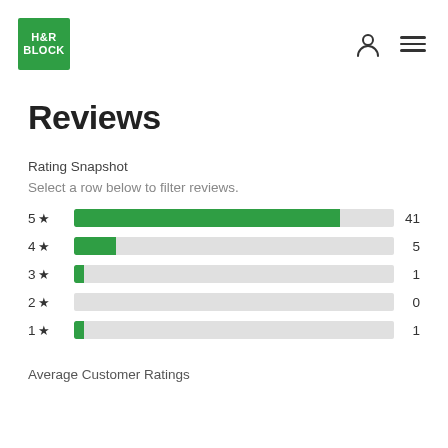[Figure (logo): H&R Block green square logo]
Reviews
Rating Snapshot
Select a row below to filter reviews.
[Figure (bar-chart): Rating Snapshot]
Average Customer Ratings